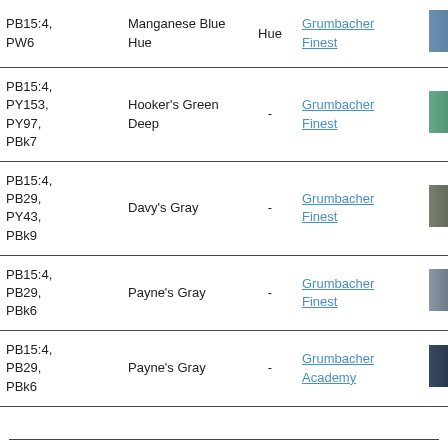| Pigment | Name | Transparency | Brand | Swatch |
| --- | --- | --- | --- | --- |
| PB15:4, PW6 | Manganese Blue Hue | Hue | Grumbacher Finest | [swatch: steel blue] |
| PB15:4, PY153, PY97, PBk7 | Hooker's Green Deep | - | Grumbacher Finest | [swatch: dark green] |
| PB15:4, PB29, PY43, PBk9 | Davy's Gray | - | Grumbacher Finest | [swatch: dark gray-green] |
| PB15:4, PB29, PBk6 | Payne's Gray | - | Grumbacher Finest | [swatch: dark blue-gray] |
| PB15:4, PB29, PBk6 | Payne's Gray | - | Grumbacher Academy | [swatch: very dark navy] |